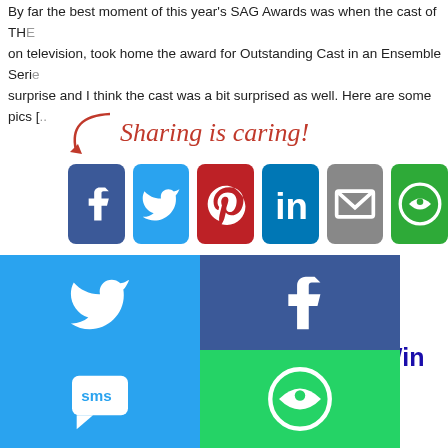By far the best moment of this year's SAG Awards was when the cast of THE on television, took home the award for Outstanding Cast in an Ensemble Serie. surprise and I think the cast was a bit surprised as well. Here are some pics [..
[Figure (infographic): Sharing is caring! social share buttons with arrow: Facebook, Twitter, Pinterest, LinkedIn, Email, More]
Tags:
Donate to THE OFFICE Crew & Win an O Experience!!
December 9, 2007 by Kath Skerry
Filed under Angela Kinsey, BJ Novak, Brian Baumgartner, David Denman, Dwight Schrute, Jenna Fischer, Jim Halpert, John ...ainn
[Figure (screenshot): Mobile social share overlay with Twitter, Facebook, Email, WhatsApp, SMS, More buttons]